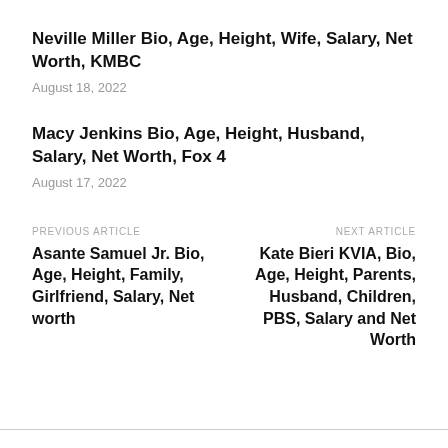Neville Miller Bio, Age, Height, Wife, Salary, Net Worth, KMBC
August 18, 2022
Macy Jenkins Bio, Age, Height, Husband, Salary, Net Worth, Fox 4
August 17, 2022
PREVIOUS ARTICLE
Asante Samuel Jr. Bio, Age, Height, Family, Girlfriend, Salary, Net worth
NEXT ARTICLE
Kate Bieri KVIA, Bio, Age, Height, Parents, Husband, Children, PBS, Salary and Net Worth